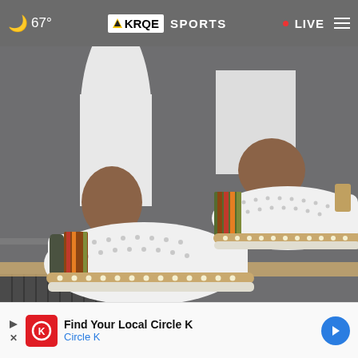67° KRQE SPORTS • LIVE
[Figure (photo): Close-up photo of a person's feet wearing white slip-on shoes with perforated upper, studded sole trim, and colorful striped accent panel, standing on a gray asphalt surface.]
You'll Be Like Walking on a Cloud in These Shoes - Now 70% Off!
Sunset
[Figure (infographic): Bottom advertisement banner for Circle K featuring a red Circle K logo icon, the text 'Find Your Local Circle K' and 'Circle K', with a blue navigation arrow icon on the right.]